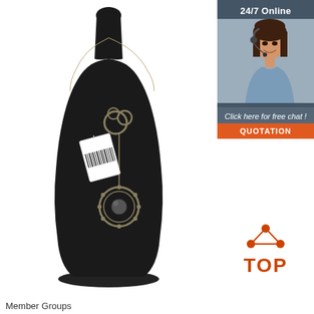[Figure (photo): A necklace displayed on a black velvet jewelry bust/mannequin stand. The necklace features a decorative knotted element and a circular pendant with a dark gemstone, hanging from a delicate chain. A price tag is attached.]
[Figure (infographic): 24/7 Online chat widget showing a female customer service agent wearing a headset, text 'Click here for free chat!' and an orange 'QUOTATION' button]
[Figure (logo): TOP badge logo with orange dots arranged in a triangle above the word TOP in orange letters]
Member Groups